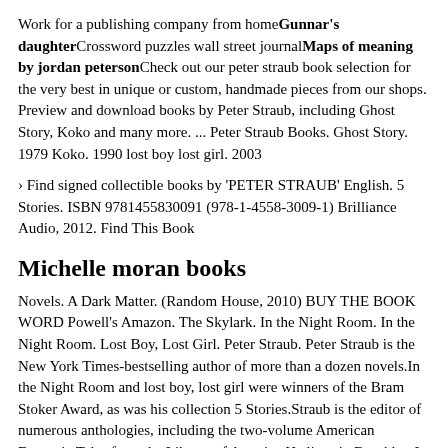Work for a publishing company from home Gunnar's daughter Crossword puzzles wall street journal Maps of meaning by jordan peterson Check out our peter straub book selection for the very best in unique or custom, handmade pieces from our shops. Preview and download books by Peter Straub, including Ghost Story, Koko and many more. ... Peter Straub Books. Ghost Story. 1979 Koko. 1990 lost boy lost girl. 2003
› Find signed collectible books by 'PETER STRAUB' English. 5 Stories. ISBN 9781455830091 (978-1-4558-3009-1) Brilliance Audio, 2012. Find This Book
Michelle moran books
Novels. A Dark Matter. (Random House, 2010) BUY THE BOOK WORD Powell's Amazon. The Skylark. In the Night Room. In the Night Room. Lost Boy, Lost Girl. Peter Straub. Peter Straub is the New York Times-bestselling author of more than a dozen novels.In the Night Room and lost boy, lost girl were winners of the Bram Stoker Award, as was his collection 5 Stories.Straub is the editor of numerous anthologies, including the two-volume American Fantastic Tales from the Library of America.He lives in Brooklyn.In general, I do like Straub's writing. Other than the Blue Rose Trilogy, of which this is the first book, my only Straub reads